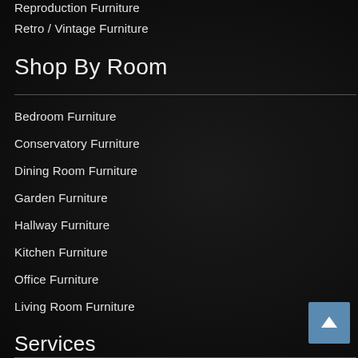Reproduction Furniture
Retro / Vintage Furniture
Shop By Room
Bedroom Furniture
Conservatory Furniture
Dining Room Furniture
Garden Furniture
Hallway Furniture
Kitchen Furniture
Office Furniture
Living Room Furniture
Services
Bespoke Cabinet Furniture